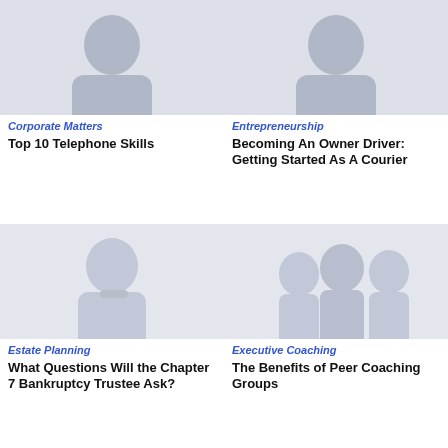[Figure (photo): Person image for Corporate Matters - Top 10 Telephone Skills article]
Corporate Matters
Top 10 Telephone Skills
[Figure (photo): Person image for Entrepreneurship - Becoming An Owner Driver article]
Entrepreneurship
Becoming An Owner Driver: Getting Started As A Courier
[Figure (photo): Man in white shirt thinking - Estate Planning article]
Estate Planning
What Questions Will the Chapter 7 Bankruptcy Trustee Ask?
[Figure (photo): Three women smiling - Executive Coaching article]
Executive Coaching
The Benefits of Peer Coaching Groups
[Figure (photo): Partial person image bottom left]
[Figure (photo): Partial person image bottom right]